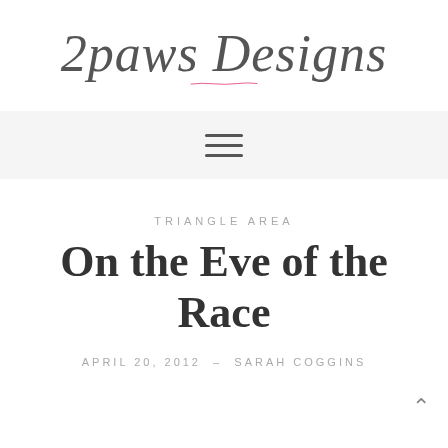2paws Designs
[Figure (other): Hamburger menu icon with three horizontal lines on a light grey background navigation bar]
TRIANGLE AREA
On the Eve of the Race
APRIL 20, 2012 – SARAH COGGINS